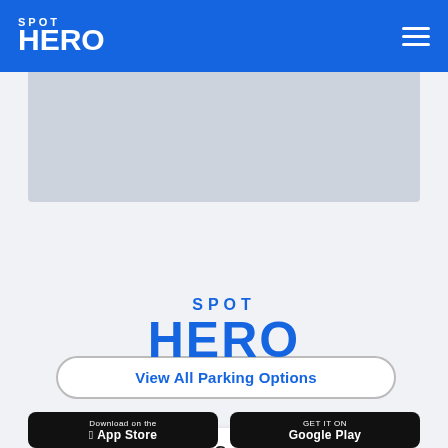SPOT HERO
[Figure (screenshot): Map/image placeholder area showing a light blue-grey background region]
999 Waterside Dr. - Garage | starting at $5 | Good (69) | 1.0 mi
View All Parking Options
[Figure (logo): SpotHero logo in blue text on light grey background]
[Figure (screenshot): Download on the App Store button and GET IT ON Google Play button]